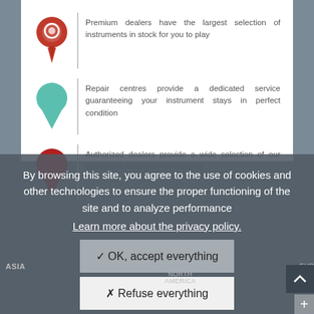Premium dealers have the largest selection of instruments in stock for you to play
Repair centres provide a dedicated service guaranteeing your instrument stays in perfect condition
Authorized dealers provide a wide selection of our instrument ranges for you to play
By browsing this site, you agree to the use of cookies and other technologies to ensure the proper functioning of the site and to analyze performance
Learn more about the privacy policy.
✓ OK, accept everything
✗ Refuse everything
Personalize